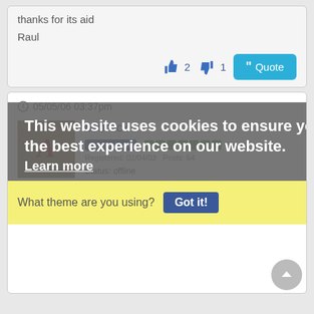thanks for its aid
Raul
👍 2  👎 1  " Quote
05/05/06 03:37pm
bcbrock
Forum User  Registered: 02/04/03  Posts: 64
Status: offline
This website uses cookies to ensure you get the best experience on our website.
Learn more
What theme are you using?
Got it!
Do you have multiple themes on your site? What happens if you switch to a different theme and then try to change the